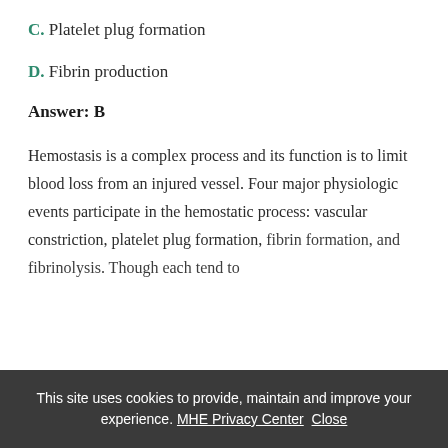C. Platelet plug formation
D. Fibrin production
Answer: B
Hemostasis is a complex process and its function is to limit blood loss from an injured vessel. Four major physiologic events participate in the hemostatic process: vascular constriction, platelet plug formation, fibrin formation, and fibrinolysis. Though each tend to
This site uses cookies to provide, maintain and improve your experience. MHE Privacy Center  Close